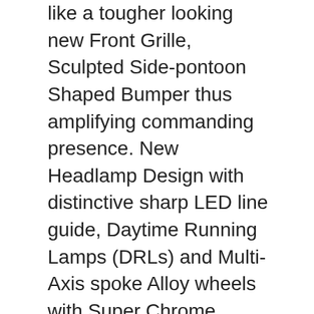like a tougher looking new Front Grille, Sculpted Side-pontoon Shaped Bumper thus amplifying commanding presence. New Headlamp Design with distinctive sharp LED line guide, Daytime Running Lamps (DRLs) and Multi-Axis spoke Alloy wheels with Super Chrome metallic finishing giving a luxurious look.
For the interior, Superior Suction based Seat ventilation system (Front Row) and a larger Smart Playcast Touchscreen Audio with Android Auto/Apple Carplay and a JBL 11 speaker w/ subwoofer system [4X4 variants only] are some of the key changes.
For added driving comfort and convenience, the new Fortuner comes with Auto Limited Slip